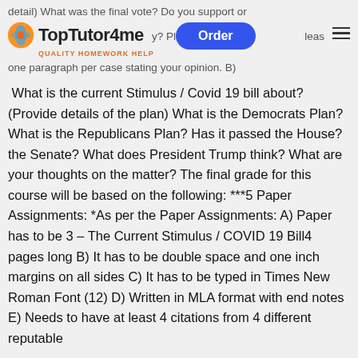detail) What was the final vote? Do you support or oppose this policy? Please write at least one paragraph per case stating your opinion. B)
What is the current Stimulus / Covid 19 bill about? (Provide details of the plan) What is the Democrats Plan? What is the Republicans Plan? Has it passed the House? the Senate? What does President Trump think? What are your thoughts on the matter? The final grade for this course will be based on the following: ***5 Paper Assignments: *As per the Paper Assignments: A) Paper has to be 3 – The Current Stimulus / COVID 19 Bill4 pages long B) It has to be double space and one inch margins on all sides C) It has to be typed in Times New Roman Font (12) D) Written in MLA format with end notes E) Needs to have at least 4 citations from 4 different reputable